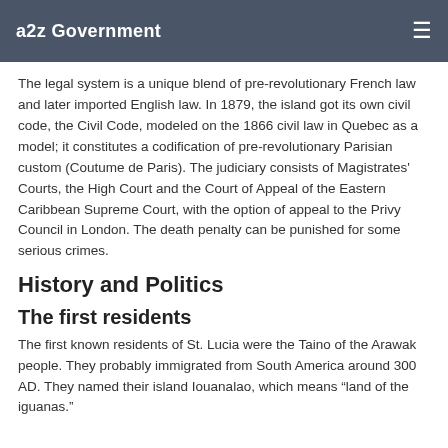a2z Government
The legal system is a unique blend of pre-revolutionary French law and later imported English law. In 1879, the island got its own civil code, the Civil Code, modeled on the 1866 civil law in Quebec as a model; it constitutes a codification of pre-revolutionary Parisian custom (Coutume de Paris). The judiciary consists of Magistrates' Courts, the High Court and the Court of Appeal of the Eastern Caribbean Supreme Court, with the option of appeal to the Privy Council in London. The death penalty can be punished for some serious crimes.
History and Politics
The first residents
The first known residents of St. Lucia were the Taino of the Arawak people. They probably immigrated from South America around 300 AD. They named their island Iouanalao, which means “land of the iguanas.”